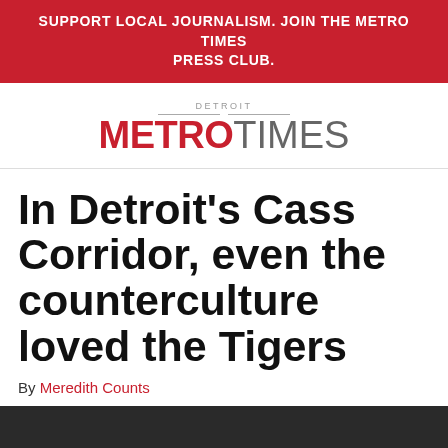SUPPORT LOCAL JOURNALISM. JOIN THE METRO TIMES PRESS CLUB.
[Figure (logo): Detroit Metro Times logo with red METRO and gray TIMES wordmark, flanked by horizontal rules and small DETROIT text above]
In Detroit’s Cass Corridor, even the counterculture loved the Tigers
By Meredith Counts
[Figure (photo): Partial dark photo strip at the bottom of the page with an ad close button in the lower right corner]